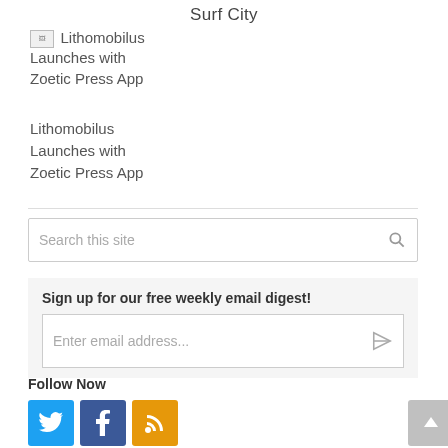Surf City
[Figure (other): Broken image placeholder icon for Lithomobilus Launches with Zoetic Press App article thumbnail]
Lithomobilus Launches with Zoetic Press App
Lithomobilus Launches with Zoetic Press App
Search this site
Sign up for our free weekly email digest!
Enter email address...
Follow Now
[Figure (other): Social media icons: Twitter (blue bird), Facebook (blue f), RSS (orange wifi icon), and back-to-top button (gray arrow up)]